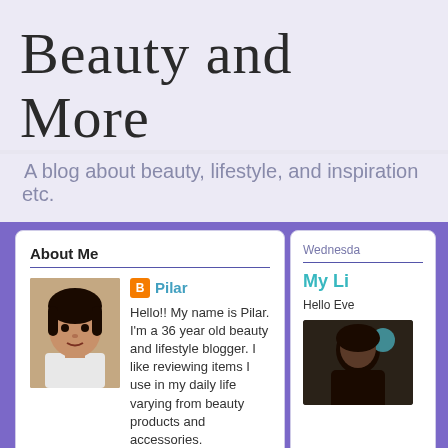Beauty and More
A blog about beauty, lifestyle, and inspiration etc.
About Me
[Figure (photo): Profile photo of Pilar, a woman with dark hair]
Pilar
Hello!! My name is Pilar. I'm a 36 year old beauty and lifestyle blogger. I like reviewing items I use in my daily life varying from beauty products and accessories. I will also show hauls, how-to tutorials and share my thoughts on various subjects pertaining to my interests :) Thanks for stopping by! Feel free to follow me on social media!
View my complete profile
Wednesday
My Li
Hello Eve